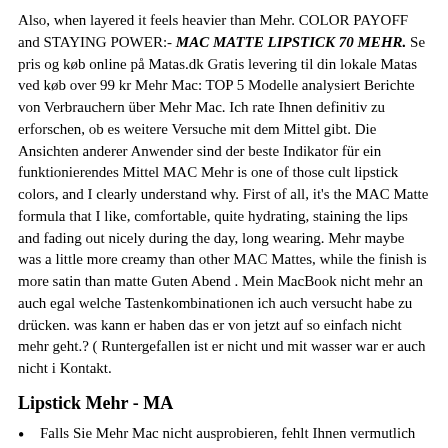Also, when layered it feels heavier than Mehr. COLOR PAYOFF and STAYING POWER:- MAC MATTE LIPSTICK 70 MEHR. Se pris og køb online på Matas.dk Gratis levering til din lokale Matas ved køb over 99 kr Mehr Mac: TOP 5 Modelle analysiert Berichte von Verbrauchern über Mehr Mac. Ich rate Ihnen definitiv zu erforschen, ob es weitere Versuche mit dem Mittel gibt. Die Ansichten anderer Anwender sind der beste Indikator für ein funktionierendes Mittel MAC Mehr is one of those cult lipstick colors, and I clearly understand why. First of all, it's the MAC Matte formula that I like, comfortable, quite hydrating, staining the lips and fading out nicely during the day, long wearing. Mehr maybe was a little more creamy than other MAC Mattes, while the finish is more satin than matte Guten Abend . Mein MacBook nicht mehr an auch egal welche Tastenkombinationen ich auch versucht habe zu drücken. was kann er haben das er von jetzt auf so einfach nicht mehr geht.? ( Runtergefallen ist er nicht und mit wasser war er auch nicht i Kontakt.
Lipstick Mehr - MA
Falls Sie Mehr Mac nicht ausprobieren, fehlt Ihnen vermutlich schlicht und ergreifend die Leidenschaft, um den Problemen den Gar auszumachen. An dieser Stelle verschiedene Resultate, die veranschaulichen wie effektiv das Mittel wirklich ist: Raabe und noch. am Mac, iPhone & iPad für
Mac Mehr에서 Facebook 친구찾기. Facebook에 가입하여 Mac Mehr와 이 외 아는 사람들과. Facebook에 가입하면 친구 및 동료에 관한 모든 것을 알 수 있습니다